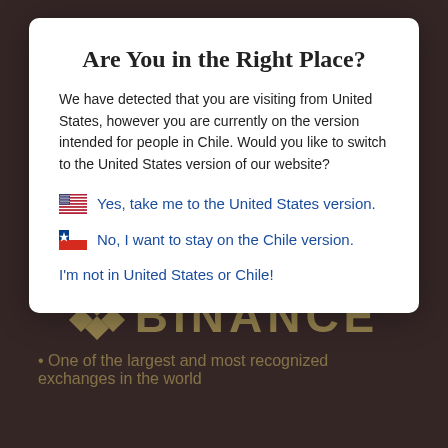[Figure (screenshot): Dark background showing Binance logo (gold diamond-shaped icon and 'BINANCE' text in gold) with a bullet point 'One of the largest and most recognized exchanges in the world' partially visible at the bottom.]
Are You in the Right Place?
We have detected that you are visiting from United States, however you are currently on the version intended for people in Chile. Would you like to switch to the United States version of our website?
Yes, take me to the United States version.
No, I want to stay on the Chile version.
I'm not in United States or Chile!